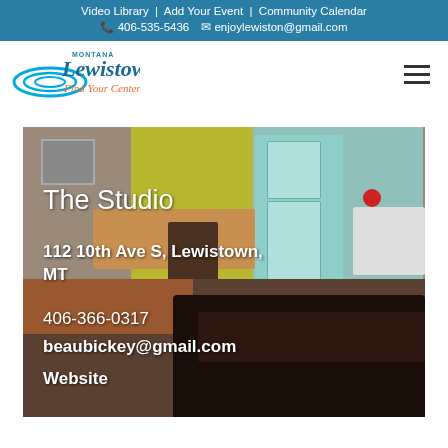Video Library | Add Your Event | Community Calendar
📞 406-535-5436  ✉ enjoylewiston@gmail.com
[Figure (logo): Lewistown Montana 'Find Your Center' logo with blue wave/water graphic]
[Figure (photo): Interior photo of a studio space showing kitchen area with retro teal refrigerator, wooden table and chairs, and a dark leather sofa in the foreground]
The Studio
112 10th Ave S, Lewistown, MT
406-366-0317
beaubickey@gmail.com
Website